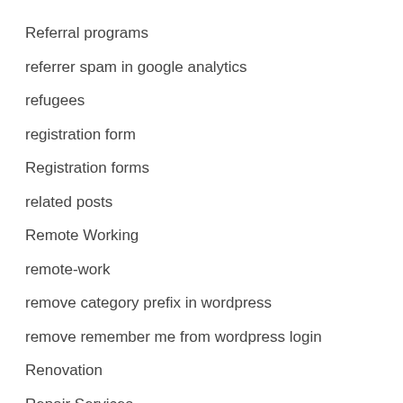Referral programs
referrer spam in google analytics
refugees
registration form
Registration forms
related posts
Remote Working
remote-work
remove category prefix in wordpress
remove remember me from wordpress login
Renovation
Repair Services